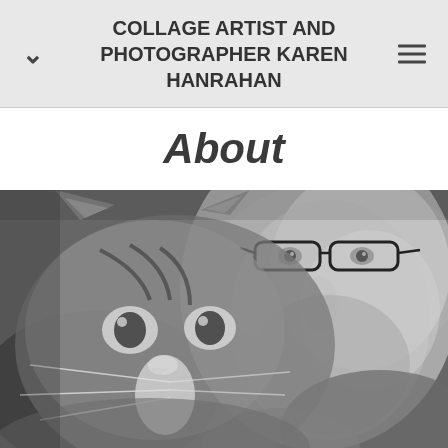COLLAGE ARTIST AND PHOTOGRAPHER KAREN HANRAHAN
About
[Figure (photo): Black and white close-up photograph of a person wearing glasses posing cheek-to-cheek with a tabby cat. The cat faces the camera directly with striking eyes and whiskers visible. The person is partially visible on the right side of the frame.]